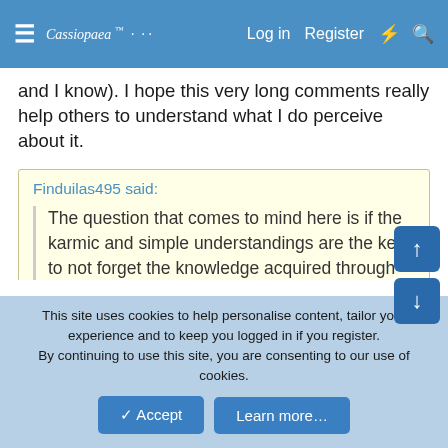Cassiopaea Forum — Log in  Register
and I know). I hope this very long comments really help others to understand what I do perceive about it.
Finduilas495 said: The question that comes to mind here is if the karmic and simple understandings are the key to not forget the knowledge acquired through the Work.
I totally agree with you on this point. There are something simple to learn, to understand. Lessons that can lead to the spiritual/karma/soul. And this intel accumulates into the soul (I'm not sure to use soul memory imprint, but something
This site uses cookies to help personalise content, tailor your experience and to keep you logged in if you register. By continuing to use this site, you are consenting to our use of cookies.
✓ Accept    Learn more…